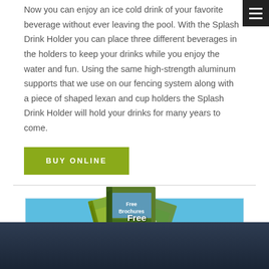Now you can enjoy an ice cold drink of your favorite beverage without ever leaving the pool. With the Splash Drink Holder you can place three different beverages in the holders to keep your drinks while you enjoy the water and fun. Using the same high-strength aluminum supports that we use on our fencing system along with a piece of shaped lexan and cup holders the Splash Drink Holder will hold your drinks for many years to come.
BUY ONLINE
[Figure (illustration): Free Brochures promotional banner with illustrated brochure books on a blue background]